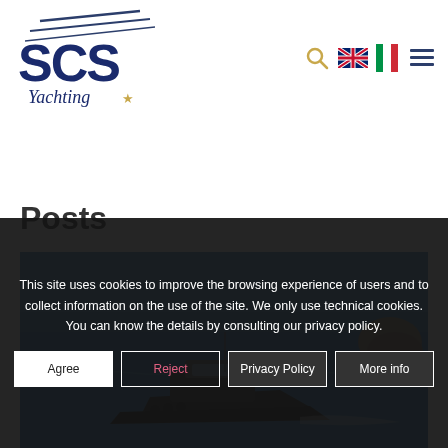SCS Yachting — navigation header with logo, search, language flags, and menu
Posts
[Figure (photo): Aerial or elevated view of a motorboat on blue sea water near rocky coastline]
This site uses cookies to improve the browsing experience of users and to collect information on the use of the site. We only use technical cookies. You can know the details by consulting our privacy policy.
Agree | Reject | Privacy Policy | More info